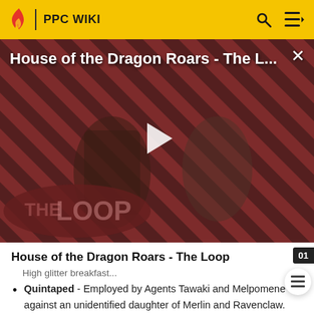PPC WIKI
[Figure (screenshot): Video thumbnail for 'House of the Dragon Roars - The Loop' showing two characters in medieval fantasy costumes against a diagonal red and black striped background. A white play button triangle is centered. 'THE LOOP' text badge is at the bottom left. The video title appears at the top left in white text with an X close button at the top right.]
House of the Dragon Roars - The Loop
High glitter breakfast...
Quintaped - Employed by Agents Tawaki and Melpomene against an unidentified daughter of Merlin and Ravenclaw.